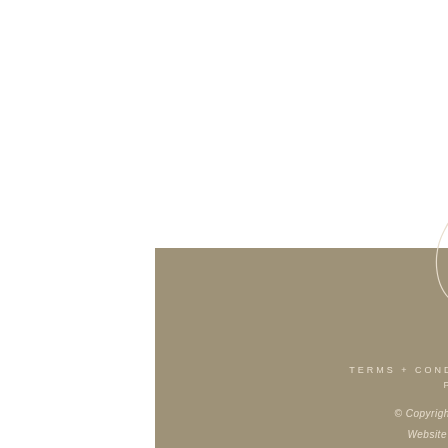[Figure (logo): Decorative botanical logo: a crescent leaf shape with a flower bud and trailing botanical sprigs, drawn in light cream/white line art on a taupe background]
TERMS + CONDITIONS | PRIVACY POLICY
© Copyright 2020 Holly Arnold
Website By Sticky Studio